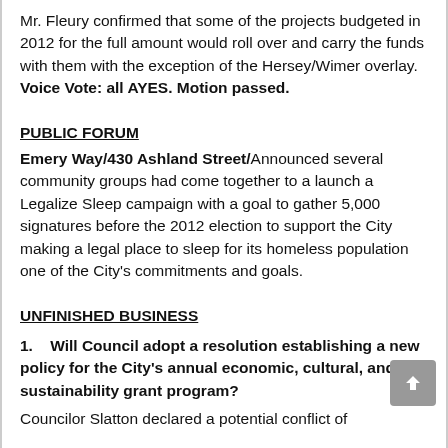Mr. Fleury confirmed that some of the projects budgeted in 2012 for the full amount would roll over and carry the funds with them with the exception of the Hersey/Wimer overlay.  Voice Vote: all AYES. Motion passed.
PUBLIC FORUM
Emery Way/430 Ashland Street/Announced several community groups had come together to a launch a Legalize Sleep campaign with a goal to gather 5,000 signatures before the 2012 election to support the City making a legal place to sleep for its homeless population one of the City's commitments and goals.
UNFINISHED BUSINESS
1.   Will Council adopt a resolution establishing a new policy for the City's annual economic, cultural, and sustainability grant program?
Councilor Slatton declared a potential conflict of